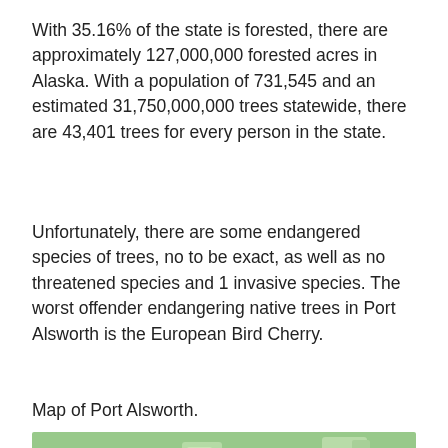With 35.16% of the state is forested, there are approximately 127,000,000 forested acres in Alaska. With a population of 731,545 and an estimated 31,750,000,000 trees statewide, there are 43,401 trees for every person in the state.
Unfortunately, there are some endangered species of trees, no to be exact, as well as no threatened species and 1 invasive species. The worst offender endangering native trees in Port Alsworth is the European Bird Cherry.
Map of Port Alsworth.
[Figure (map): A map showing Port Alsworth area with Lake Clark visible as a large blue water body, surrounded by green land areas with lighter green patches indicating lower terrain or vegetation differences.]